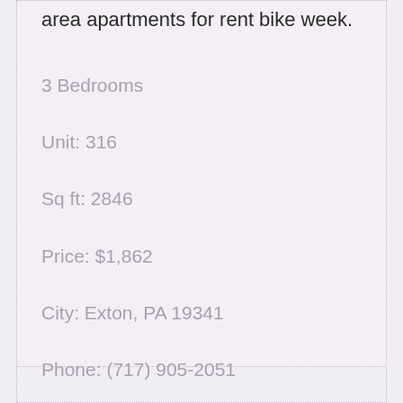area apartments for rent bike week.
3 Bedrooms
Unit: 316
Sq ft: 2846
Price: $1,862
City: Exton, PA 19341
Phone: (717) 905-2051